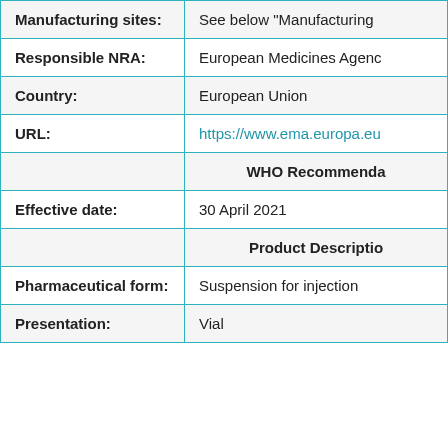| Field | Value |
| --- | --- |
| Manufacturing sites: | See below "Manufacturing |
| Responsible NRA: | European Medicines Agenc |
| Country: | European Union |
| URL: | https://www.ema.europa.eu |
|  | WHO Recommenda |
| Effective date: | 30 April 2021 |
|  | Product Descriptio |
| Pharmaceutical form: | Suspension for injection |
| Presentation: | Vial |